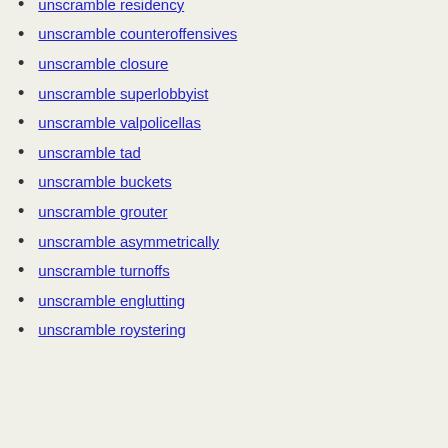unscramble residency
unscramble counteroffensives
unscramble closure
unscramble superlobbyist
unscramble valpolicellas
unscramble tad
unscramble buckets
unscramble grouter
unscramble asymmetrically
unscramble turnoffs
unscramble englutting
unscramble roystering